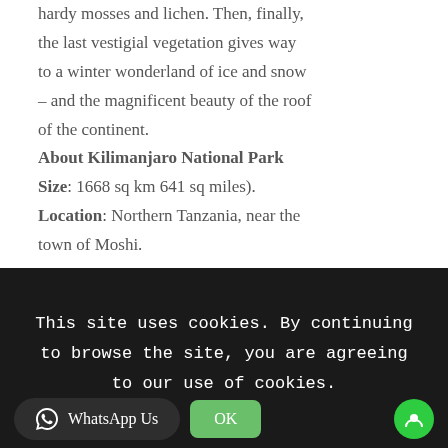hardy mosses and lichen. Then, finally, the last vestigial vegetation gives way to a winter wonderland of ice and snow – and the magnificent beauty of the roof of the continent.
About Kilimanjaro National Park
Size: 1668 sq km 641 sq miles).
Location: Northern Tanzania, near the town of Moshi.
This site uses cookies. By continuing to browse the site, you are agreeing to our use of cookies.